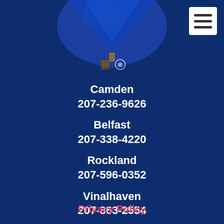[Figure (illustration): Blue hot air balloon shape at top of page, dark navy blue background]
[Figure (logo): Small cup/basket icon with registered trademark symbol]
Camden
207-236-9626
Belfast
207-338-4220
Rockland
207-596-0352
Vinalhaven
207-863-2554
Waldoboro
207-832-5219
Privacy Policy